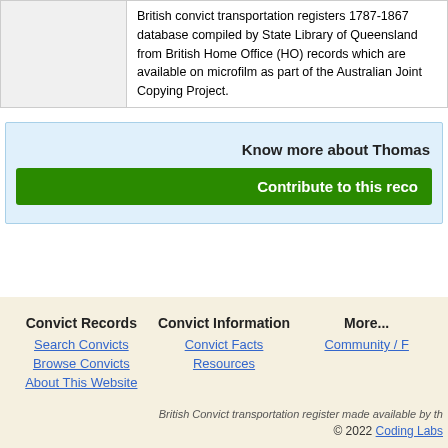|  | British convict transportation registers 1787-1867 database compiled by State Library of Queensland from British Home Office (HO) records which are available on microfilm as part of the Australian Joint Copying Project. |
Know more about Thomas
Contribute to this reco
Convict Records
Search Convicts
Browse Convicts
About This Website
Convict Information
Convict Facts
Resources
More...
Community / F
British Convict transportation register made available by th
© 2022 Coding Labs